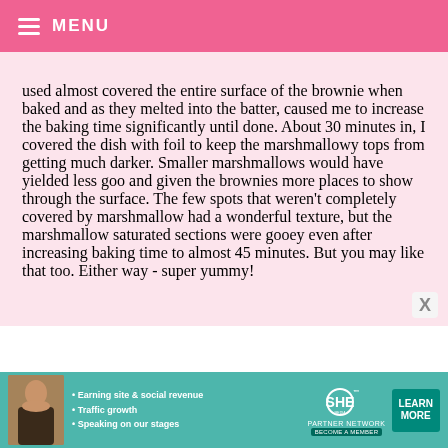MENU
used almost covered the entire surface of the brownie when baked and as they melted into the batter, caused me to increase the baking time significantly until done. About 30 minutes in, I covered the dish with foil to keep the marshmallowy tops from getting much darker. Smaller marshmallows would have yielded less goo and given the brownies more places to show through the surface. The few spots that weren't completely covered by marshmallow had a wonderful texture, but the marshmallow saturated sections were gooey even after increasing baking time to almost 45 minutes. But you may like that too. Either way - super yummy!
[Figure (infographic): Advertisement banner for SHE Partner Network with a woman's photo, bullet points: Earning site & social revenue, Traffic growth, Speaking on our stages, and a LEARN MORE button]